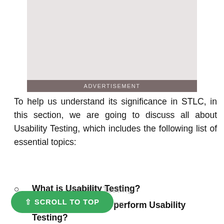[Figure (other): Advertisement placeholder box (gray rectangle)]
ADVERTISEMENT
To help us understand its significance in STLC, in this section, we are going to discuss all about Usability Testing, which includes the following list of essential topics:
What is Usability Testing?
Why do we need to perform Usability Testing?